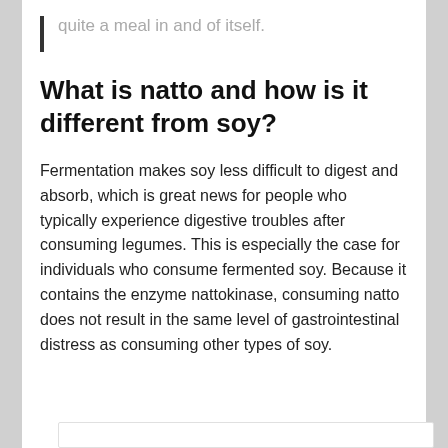quite a meal in and of itself.
What is natto and how is it different from soy?
Fermentation makes soy less difficult to digest and absorb, which is great news for people who typically experience digestive troubles after consuming legumes. This is especially the case for individuals who consume fermented soy. Because it contains the enzyme nattokinase, consuming natto does not result in the same level of gastrointestinal distress as consuming other types of soy.